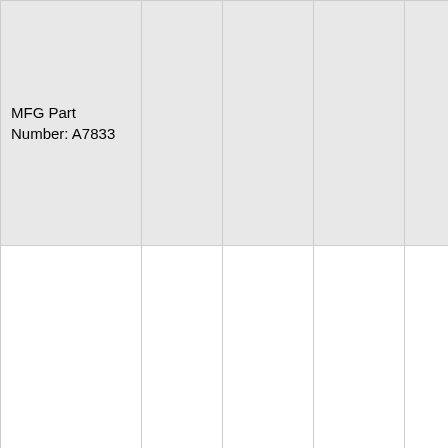| Product | X | Dim1 | Dim2 | Weight | Link |
| --- | --- | --- | --- | --- | --- |
| GlowStep Stow N' Go - 4 Step - Black Bracket MFG Part Number: A7833 |  |  |  |  | bers |
| GlowStep Stow N' Go - 4 Step - Black Bracket MFG Part Number: A7834 | X | 35.38" | 14"-15" | 375 Lbs† | Click Here For Part Numbers |
| GlowStep Stow N' Go - 5 Step... | X | 42.88" | 17"-18" | 325 Lb... | Click Here F... |